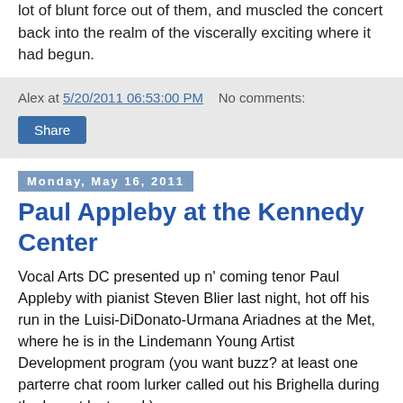lot of blunt force out of them, and muscled the concert back into the realm of the viscerally exciting where it had begun.
Alex at 5/20/2011 06:53:00 PM   No comments:
Share
Monday, May 16, 2011
Paul Appleby at the Kennedy Center
Vocal Arts DC presented up n' coming tenor Paul Appleby with pianist Steven Blier last night, hot off his run in the Luisi-DiDonato-Urmana Ariadnes at the Met, where he is in the Lindemann Young Artist Development program (you want buzz? at least one parterre chat room lurker called out his Brighella during the b-cast last week).
Appleby boasts a warm, very fresh sounding tenor of moderate weight that is always appealing and frequently striking. In this rewarding program of off-the-beaten-path